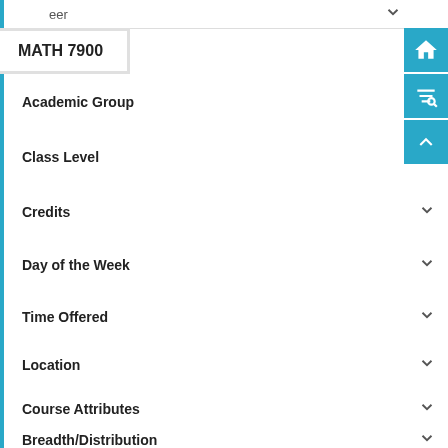eer
MATH 7900
Academic Group
Class Level
Credits
Day of the Week
Time Offered
Location
Course Attributes
Breadth/Distribution
Session
Instructor
Instruction Mode